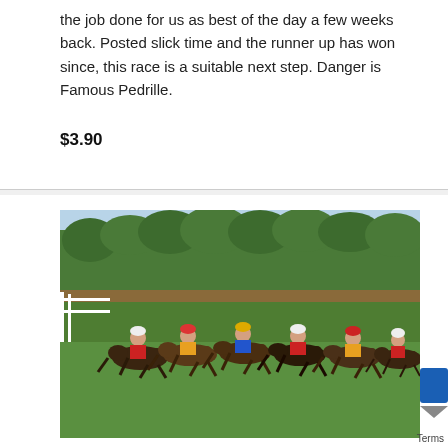the job done for us as best of the day a few weeks back. Posted slick time and the runner up has won since, this race is a suitable next step. Danger is Famous Pedrille.
$3.90
[Figure (photo): A horse race in progress on a grass track, with multiple jockeys in colorful silks riding horses closely bunched together, green trees in the background and white rail fencing visible on the left.]